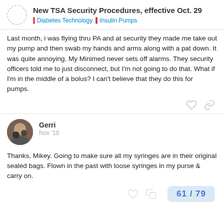New TSA Security Procedures, effective Oct. 29 | Diabetes Technology | Insulin Pumps
Last month, i was flying thru PA and at security they made me take out my pump and then swab my hands and arms along with a pat down. It was quite annoying. My Minimed never sets off alarms. They security officers told me to just disconnect, but I'm not going to do that. What if I'm in the middle of a bolus? I can't believe that they do this for pumps.
Gerri Nov '10
Thanks, Mikey. Going to make sure all my syringes are in their original sealed bags. Flown in the past with loose syringes in my purse & carry on.
61 / 79